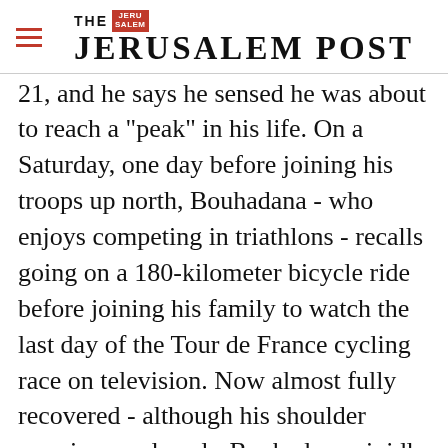THE JERUSALEM POST
21, and he says he sensed he was about to reach a "peak" in his life. On a Saturday, one day before joining his troops up north, Bouhadana - who enjoys competing in triathlons - recalls going on a 180-kilometer bicycle ride before joining his family to watch the last day of the Tour de France cycling race on television. Now almost fully recovered - although his shoulder remains paralyzed - Bouhadana vividly recalls his final mission as he sits and talks to The Report in a
Advertisement